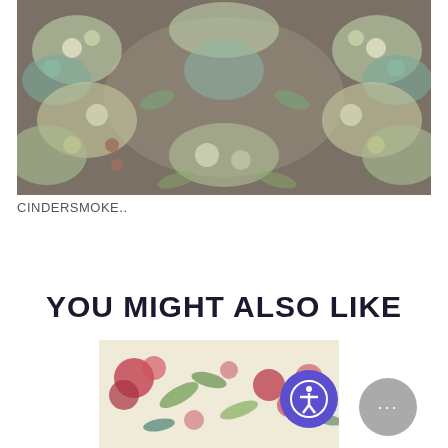[Figure (photo): Close-up photo of vintage floral fabric with cream, teal, and green flower pattern on a grey/brown background]
CINDERSMOKE..
YOU MIGHT ALSO LIKE
[Figure (photo): Close-up photo of floral fabric with red, pink, green, and beige botanical pattern on cream background, with an accessibility icon button overlay and a chat button overlay]